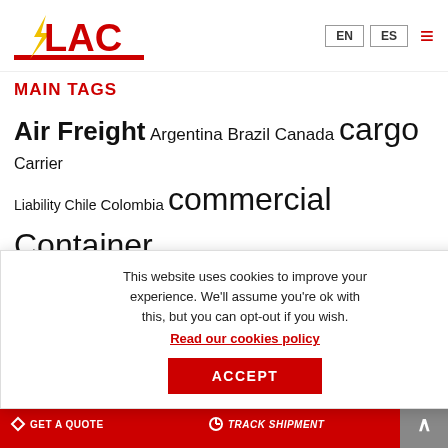[Figure (logo): LAC company logo in red with yellow lightning bolt, with red underline bar]
EN  ES  ☰
MAIN TAGS
Air Freight  Argentina  Brazil  Canada  cargo  Carrier Liability  Chile  Colombia  commercial Container Shipping  Costa Rica  COVID-19  Decarbonization  delivery  Ecuador  Emergency Relief  Export  Freight  Freight  Healthcare  al Moving  Ocean  o Shipment  tatio
This website uses cookies to improve your experience. We'll assume you're ok with this, but you can opt-out if you wish. Read our cookies policy  ACCEPT
GET A QUOTE  TRACK SHIPMENT